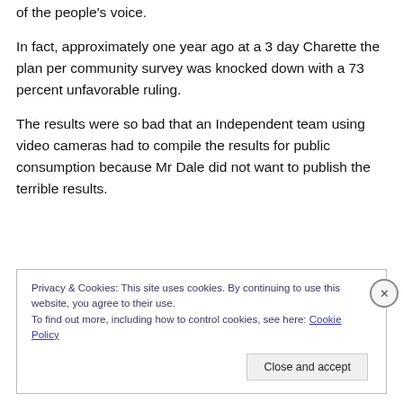of the people's voice.
In fact, approximately one year ago at a 3 day Charette the plan per community survey was knocked down with a 73 percent unfavorable ruling.
The results were so bad that an Independent team using video cameras had to compile the results for public consumption because Mr Dale did not want to publish the terrible results.
Privacy & Cookies: This site uses cookies. By continuing to use this website, you agree to their use.
To find out more, including how to control cookies, see here: Cookie Policy
Close and accept